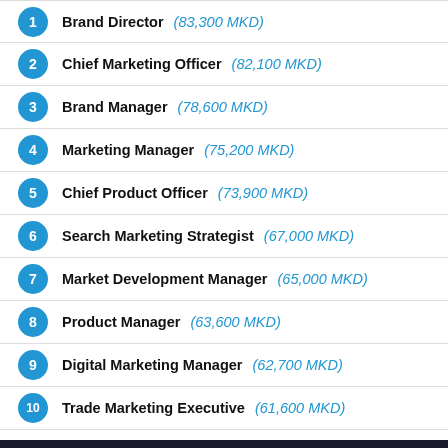1 Brand Director (83,300 MKD)
2 Chief Marketing Officer (82,100 MKD)
3 Brand Manager (78,600 MKD)
4 Marketing Manager (75,200 MKD)
5 Chief Product Officer (73,900 MKD)
6 Search Marketing Strategist (67,000 MKD)
7 Market Development Manager (65,000 MKD)
8 Product Manager (63,600 MKD)
9 Digital Marketing Manager (62,700 MKD)
10 Trade Marketing Executive (61,600 MKD)